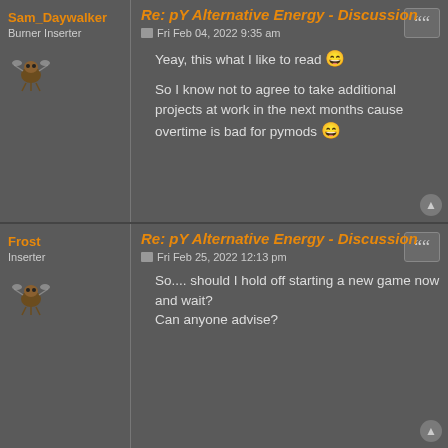Sam_Daywalker
Burner Inserter
Re: pY Alternative Energy - Discussion
Fri Feb 04, 2022 9:35 am
Yeay, this what I like to read 😄
So I know not to agree to take additional projects at work in the next months cause overtime is bad for pymods 😄
Frost
Inserter
Re: pY Alternative Energy - Discussion
Fri Feb 25, 2022 12:13 pm
So.... should I hold off starting a new game now and wait? Can anyone advise?